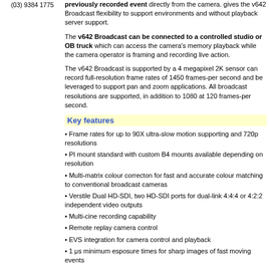(03) 9384 1775
previously recorded event directly from the camera. gives the v642 Broadcast flexibility to support environments and without playback server support.
The v642 Broadcast can be connected to a controller studio or OB truck which can access the camera's memory playback while the camera operator is framing and recording live action.
The v642 Broadcast is supported by a 4 megapixel 2K sensor can record full-resolution frame rates of 1450 frames-per second and be leveraged to support pan and zoom applications. All broadcast resolutions are supported, in addition to 1080 at 120 frames-per second.
Key features
Frame rates for up to 90X ultra-slow motion supporting and 720p resolutions
PI mount standard with custom B4 mounts available depending on resolution
Multi-matrix colour correcton for fast and accurate colour matching to conventional broadcast cameras
Verstile Dual HD-SDI, two HD-SDI ports for dual-link 4:4:4 or 4:2:2 independent video outputs
Multi-cine recording capability
Remote replay camera control
EVS integration for camera control and playback
1 μs minimum esposure times for sharp images of fast moving events
Internal mechaial shutter for hands-free/remote black